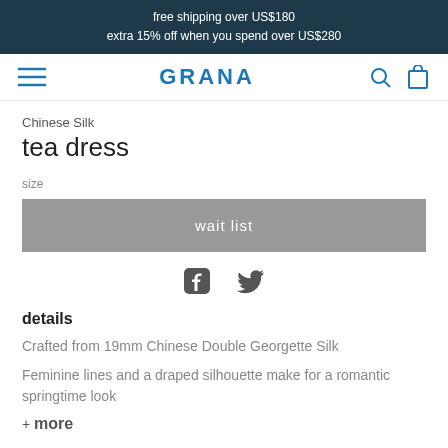free shipping over US$180
extra 15% off when you spend over US$280
[Figure (logo): GRANA logo with hamburger menu icon on left and search/bag icons on right]
Chinese Silk
tea dress
size
wait list
[Figure (illustration): Facebook and Twitter social share icons]
details
Crafted from 19mm Chinese Double Georgette Silk
Feminine lines and a draped silhouette make for a romantic springtime look
+ more